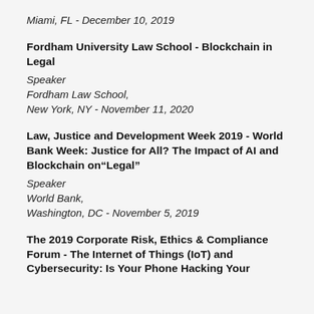Miami, FL - December 10, 2019
Fordham University Law School - Blockchain in Legal
Speaker
Fordham Law School,
New York, NY - November 11, 2020
Law, Justice and Development Week 2019 - World Bank Week: Justice for All? The Impact of AI and Blockchain on“Legal”
Speaker
World Bank,
Washington, DC - November 5, 2019
The 2019 Corporate Risk, Ethics & Compliance Forum - The Internet of Things (IoT) and Cybersecurity: Is Your Phone Hacking Your